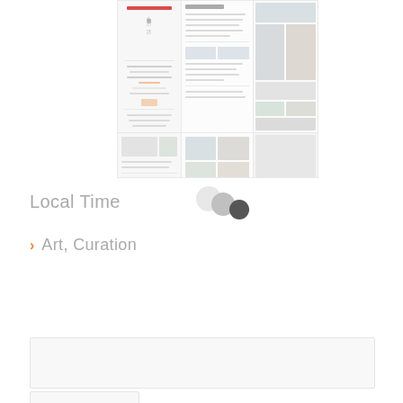[Figure (screenshot): Screenshot of a website showing a multi-column layout with images, text blocks, and Japanese typography. The layout shows three columns with article thumbnails, body text, and image grids including photos of people and architecture.]
Local Time
[Figure (infographic): Three overlapping circles in light gray, medium gray, and dark gray, representing a visual concept related to time or zones.]
Art, Curation
Search